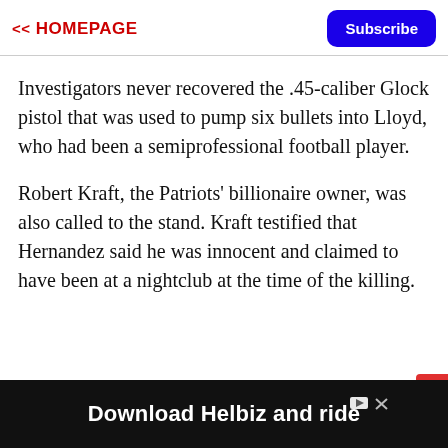<< HOMEPAGE
Investigators never recovered the .45-caliber Glock pistol that was used to pump six bullets into Lloyd, who had been a semiprofessional football player.
Robert Kraft, the Patriots' billionaire owner, was also called to the stand. Kraft testified that Hernandez said he was innocent and claimed to have been at a nightclub at the time of the killing.
[Figure (screenshot): Advertisement banner at bottom: 'Download Helbiz and ride' on dark background with ad icons]